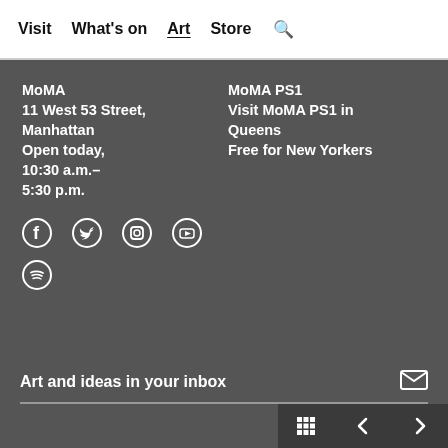Visit  What's on  Art  Store  🔍
MoMA
11 West 53 Street, Manhattan
Open today, 10:30 a.m.–5:30 p.m.
MoMA PS1
Visit MoMA PS1 in Queens
Free for New Yorkers
[Figure (infographic): Social media icons: Facebook, Twitter, Instagram, YouTube, Spotify]
Art and ideas in your inbox
[Figure (infographic): Bottom navigation: grid icon, left arrow, right arrow]